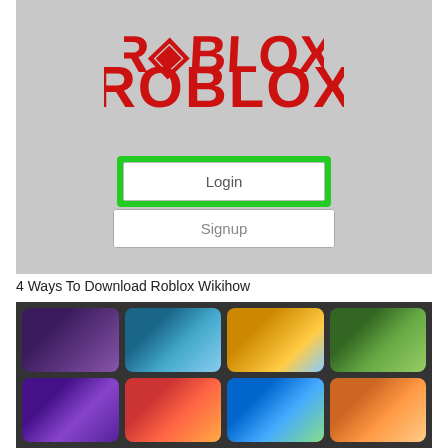[Figure (screenshot): Roblox login screen with gray background, Roblox logo in red, Login button highlighted with green border, and Signup button below]
4 Ways To Download Roblox Wikihow
[Figure (screenshot): Roblox game selection screen showing a dark grid of game thumbnail tiles with various colorful game scenes]